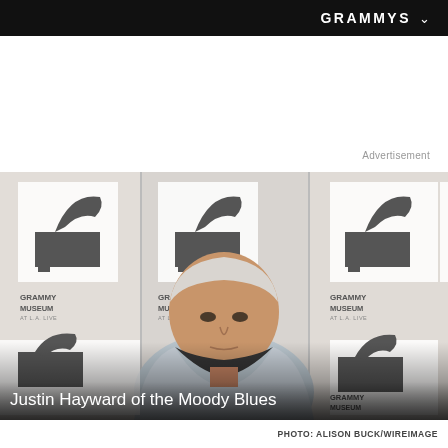GRAMMYS
Advertisement
[Figure (photo): Justin Hayward of the Moody Blues standing in front of a Grammy Museum at L.A. Live step-and-repeat backdrop, wearing a light blue blazer and black shirt. Black and white Grammy Museum logos visible in background.]
Justin Hayward of the Moody Blues
PHOTO: ALISON BUCK/WIREIMAGE